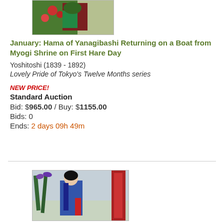[Figure (photo): Small thumbnail of a Japanese woodblock print showing a figure on a boat with red and green floral motifs]
January: Hama of Yanagibashi Returning on a Boat from Myogi Shrine on First Hare Day
Yoshitoshi (1839 - 1892)
Lovely Pride of Tokyo's Twelve Months series
NEW PRICE!
Standard Auction
Bid: $965.00 / Buy: $1155.00
Bids: 0
Ends: 2 days 09h 49m
[Figure (photo): Japanese woodblock print showing a woman in a blue kimono in an iris garden, looking at flowers]
May: Tanko of Osakamachi in an Iris Garden at Horikiri